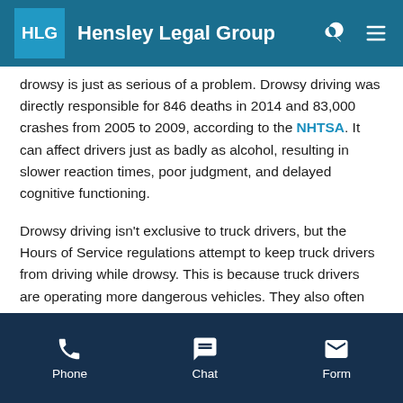Hensley Legal Group
drowsy is just as serious of a problem. Drowsy driving was directly responsible for 846 deaths in 2014 and 83,000 crashes from 2005 to 2009, according to the NHTSA. It can affect drivers just as badly as alcohol, resulting in slower reaction times, poor judgment, and delayed cognitive functioning.
Drowsy driving isn't exclusive to truck drivers, but the Hours of Service regulations attempt to keep truck drivers from driving while drowsy. This is because truck drivers are operating more dangerous vehicles. They also often work odd hours, making them more susceptible to drowsy driving than the average person.
The Hours of Service regulations limit truck drivers to 11
Phone  Chat  Form